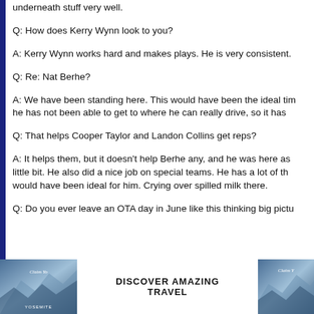underneath stuff very well.
Q: How does Kerry Wynn look to you?
A: Kerry Wynn works hard and makes plays. He is very consistent.
Q: Re: Nat Berhe?
A: We have been standing here. This would have been the ideal tim... he has not been able to get to where he can really drive, so it has...
Q: That helps Cooper Taylor and Landon Collins get reps?
A: It helps them, but it doesn't help Berhe any, and he was here as... little bit. He also did a nice job on special teams. He has a lot of th... would have been ideal for him. Crying over spilled milk there.
Q: Do you ever leave an OTA day in June like this thinking big pictu...
[Figure (photo): Advertisement banner with travel imagery of mountains/Yosemite and text 'DISCOVER AMAZING TRAVEL']